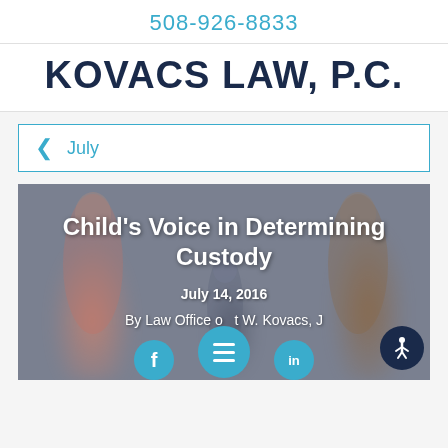508-926-8833
KOVACS LAW, P.C.
July
[Figure (photo): Background photo of two adults pulling a child between them, representing a custody dispute. Overlaid with article title 'Child's Voice in Determining Custody', date 'July 14, 2016', byline 'By Law Office of ... t W. Kovacs, J...' and social/navigation icons at the bottom.]